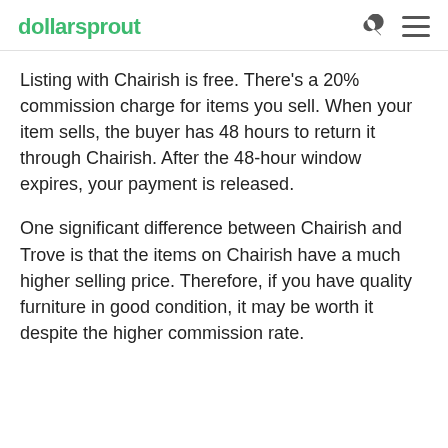dollarsprout
Listing with Chairish is free. There’s a 20% commission charge for items you sell. When your item sells, the buyer has 48 hours to return it through Chairish. After the 48-hour window expires, your payment is released.
One significant difference between Chairish and Trove is that the items on Chairish have a much higher selling price. Therefore, if you have quality furniture in good condition, it may be worth it despite the higher commission rate.